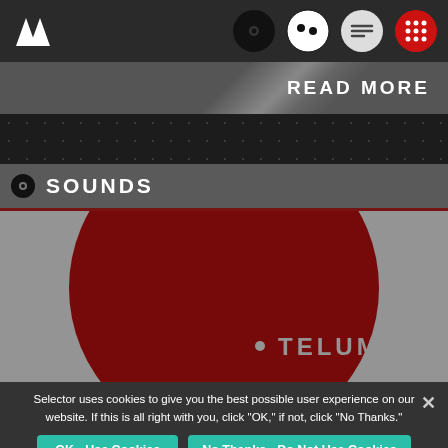Selector app navigation bar with logo and icons
READ MORE
SOUNDS
[Figure (illustration): Large red circle on white background with text 'TELUM' in white letters on the red circle]
Selector uses cookies to give you the best possible user experience on our website. If this is all right with you, click "OK," if not, click "No Thanks."
OK - Use Cookies
No Thanks - Do Not Use Cookies